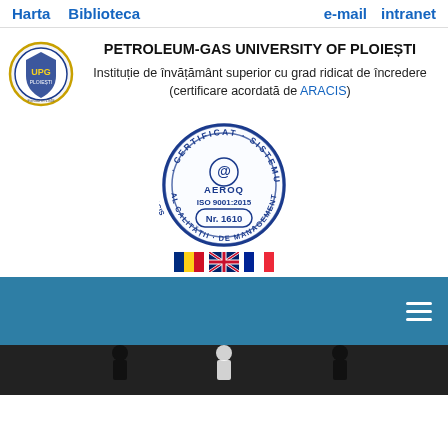Harta   Biblioteca   e-mail   intranet
PETROLEUM-GAS UNIVERSITY OF PLOIEȘTI
Instituție de învățământ superior cu grad ridicat de încredere (certificare acordată de ARACIS)
[Figure (illustration): University logo - circular emblem with UPG Ploiesti branding]
[Figure (illustration): AEROQ ISO 9001:2015 Nr. 1610 certification stamp - blue circular stamp with CERTIFICAT SISTEMUL DE MANAGEMENT AL CALITATII text]
[Figure (illustration): Three country flags: Romania, United Kingdom, France]
[Figure (photo): Dark teal navigation menu bar with hamburger icon]
[Figure (photo): Bottom image strip showing people in black and white]